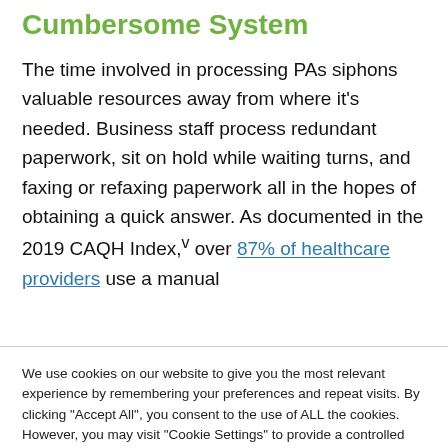Cumbersome System
The time involved in processing PAs siphons valuable resources away from where it's needed. Business staff process redundant paperwork, sit on hold while waiting turns, and faxing or refaxing paperwork all in the hopes of obtaining a quick answer. As documented in the 2019 CAQH Index,v over 87% of healthcare providers use a manual
We use cookies on our website to give you the most relevant experience by remembering your preferences and repeat visits. By clicking “Accept All”, you consent to the use of ALL the cookies. However, you may visit “Cookie Settings” to provide a controlled consent.